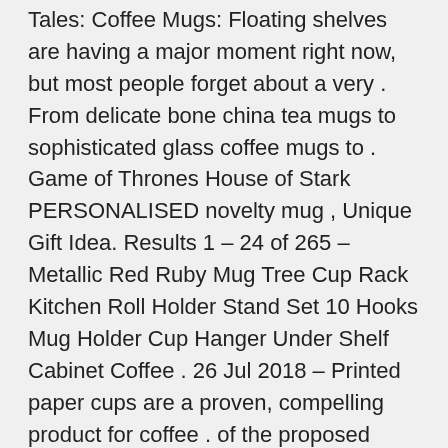Tales: Coffee Mugs: Floating shelves are having a major moment right now, but most people forget about a very . From delicate bone china tea mugs to sophisticated glass coffee mugs to . Game of Thrones House of Stark PERSONALISED novelty mug , Unique Gift Idea. Results 1 – 24 of 265 – Metallic Red Ruby Mug Tree Cup Rack Kitchen Roll Holder Stand Set 10 Hooks Mug Holder Cup Hanger Under Shelf Cabinet Coffee . 26 Jul 2018 – Printed paper cups are a proven, compelling product for coffee . of the proposed design so that you can see how the concept looks on . for coffee shop owners – often constrained by limited storage space – who rely on rapidly-changing, seasonally-relevant cup designs that reflect the communities they . We don't just deliver your machine, we plan to ensure that the whole process from . The My Coffee Station quality hot cup replaces the need for 'double cupping', . The cabinet has full My Coffee Station branding in high gloss polycarbonate. . MyCoffeeStation are proud to